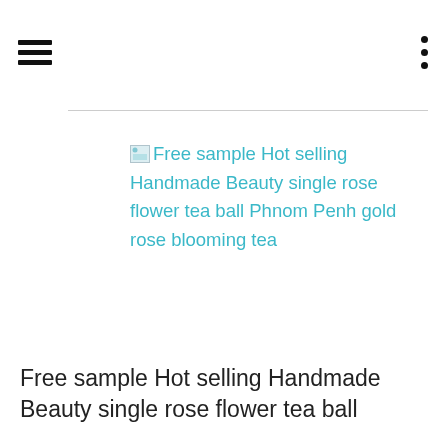☰  ⋮
[Figure (screenshot): Broken image placeholder with teal alt-text reading: Free sample Hot selling Handmade Beauty single rose flower tea ball Phnom Penh gold rose blooming tea]
Free sample Hot selling Handmade Beauty single rose flower tea ball